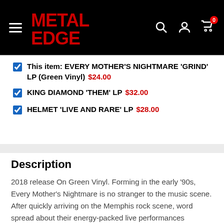[Figure (logo): Metal Edge logo in red text on black background with hamburger menu and icons]
This item: EVERY MOTHER'S NIGHTMARE 'GRIND' LP (Green Vinyl) $24.00
KING DIAMOND 'THEM' LP $32.00
HELMET 'LIVE AND RARE' LP $28.00
Description
2018 release On Green Vinyl. Forming in the early '90s, Every Mother's Nightmare is no stranger to the music scene. After quickly arriving on the Memphis rock scene, word spread about their energy-packed live performances